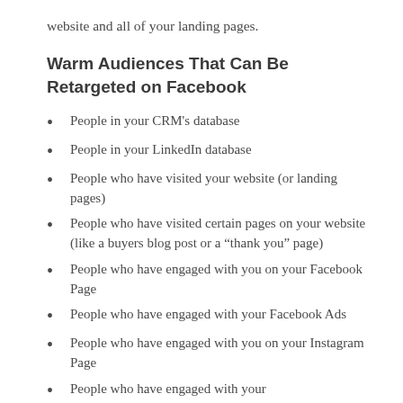website and all of your landing pages.
Warm Audiences That Can Be Retargeted on Facebook
People in your CRM’s database
People in your LinkedIn database
People who have visited your website (or landing pages)
People who have visited certain pages on your website (like a buyers blog post or a “thank you” page)
People who have engaged with you on your Facebook Page
People who have engaged with your Facebook Ads
People who have engaged with you on your Instagram Page
People who have engaged with your